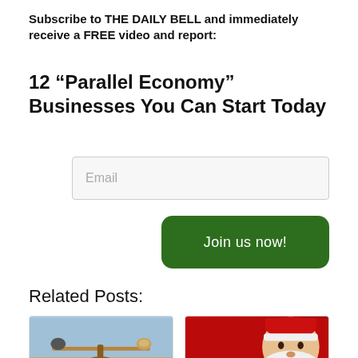Subscribe to THE DAILY BELL and immediately receive a FREE video and report:
12 “Parallel Economy” Businesses You Can Start Today
[Figure (other): Email input field with placeholder text 'Email']
[Figure (other): Green rounded button labeled 'Join us now!']
Related Posts:
[Figure (photo): Thumbnail image showing a balance scale with stones on a blue sky background]
[Figure (photo): Thumbnail image showing Santa Claus on a red background]